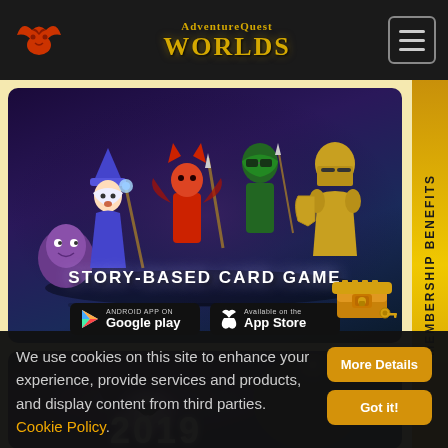AdventureQuest Worlds
[Figure (screenshot): Card game banner showing animated characters (mage, warrior, archer, knight) with text 'STORY-BASED CARD GAME' and Google Play / App Store buttons]
[Figure (screenshot): 2019 promotional banner showing a dark armored character with glowing bat logo and '2019' text]
We use cookies on this site to enhance your experience, provide services and products, and display content from third parties. Cookie Policy.
More Details
Got it!
MEMBERSHIP BENEFITS